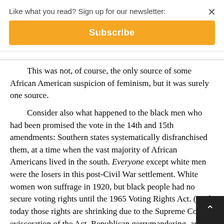Like what you read? Sign up for our newsletter:
Subscribe
This was not, of course, the only source of some African American suspicion of feminism, but it was surely one source.
Consider also what happened to the black men who had been promised the vote in the 14th and 15th amendments: Southern states systematically disfranchised them, at a time when the vast majority of African Americans lived in the south. Everyone except white men were the losers in this post-Civil War settlement. White women won suffrage in 1920, but black people had no secure voting rights until the 1965 Voting Rights Act. (And today those rights are shrinking due to the Supreme Court's evisceration of the Act, Republican gerrymandering, and a conservative campaign to disfranchise Democratic-lea... voters by requiring new documents to prove their eligi...